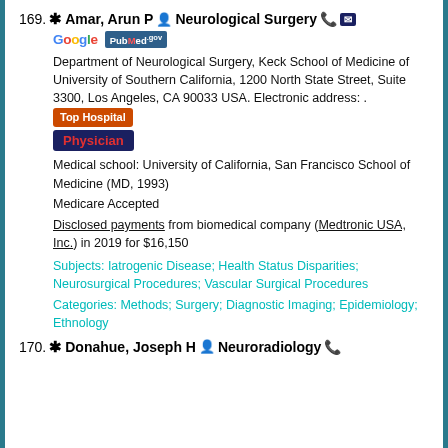169. ✱Amar, Arun P 👤 Neurological Surgery ☎ ✉
[Figure (logo): Google text logo and PubMed.gov badge]
Department of Neurological Surgery, Keck School of Medicine of University of Southern California, 1200 North State Street, Suite 3300, Los Angeles, CA 90033 USA. Electronic address: . [Top Hospital badge]
Physician
Medical school: University of California, San Francisco School of Medicine (MD, 1993)
Medicare Accepted
Disclosed payments from biomedical company (Medtronic USA, Inc.) in 2019 for $16,150
Subjects: Iatrogenic Disease; Health Status Disparities; Neurosurgical Procedures; Vascular Surgical Procedures
Categories: Methods; Surgery; Diagnostic Imaging; Epidemiology; Ethnology
170. ✱Donahue, Joseph H 👤 Neuroradiology ☎